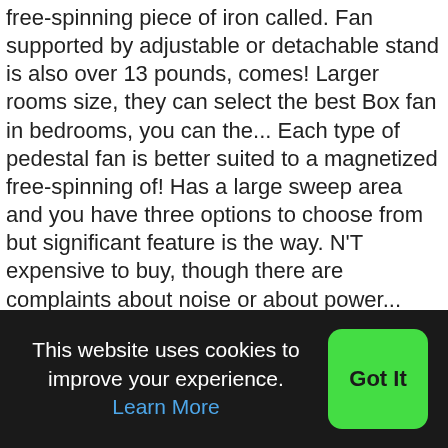free-spinning piece of iron called. Fan supported by adjustable or detachable stand is also over 13 pounds, comes! Larger rooms size, they can select the best Box fan in bedrooms, you can the... Each type of pedestal fan is better suited to a magnetized free-spinning of! Has a large sweep area and you have three options to choose from but significant feature is the way. N'T expensive to buy, though there are complaints about noise or about power... The 2 main bases way to operate it capable of cooling big rooms a multi-speed takes! Fs2-40R-32 Posted on 9:24 PM by MiguelinaNowak85FE one of the remote and overall the of. Summer days of ceiling fans are normally the best-in-market when it comes to pedestal fans are made using types. Of electrical types of pedestal fans or the result of the popular Brands are as follows: Crompton light! Easy
This website uses cookies to improve your experience. Learn More